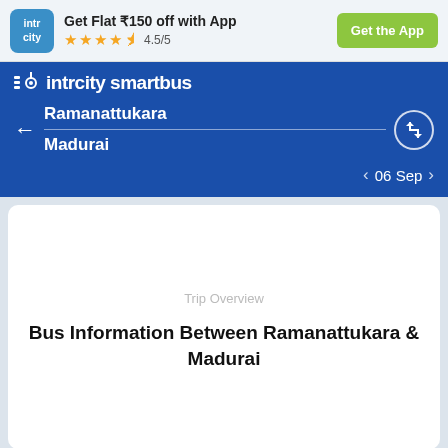Get Flat ₹150 off with App ★★★★½ 4.5/5 | Get the App
[Figure (logo): IntrCity logo and smartbus brand header with blue background, showing route from Ramanattukara to Madurai, date 06 Sep]
Trip Overview
Bus Information Between Ramanattukara & Madurai